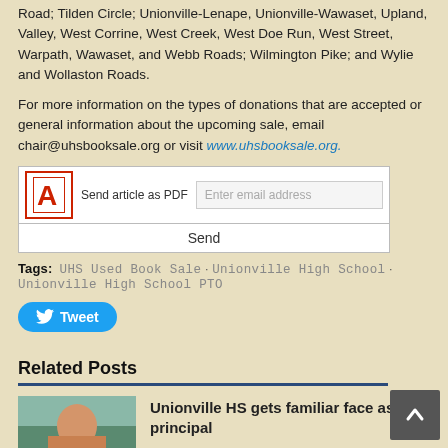Road; Tilden Circle; Unionville-Lenape, Unionville-Wawaset, Upland, Valley, West Corrine, West Creek, West Doe Run, West Street, Warpath, Wawaset, and Webb Roads; Wilmington Pike; and Wylie and Wollaston Roads.
For more information on the types of donations that are accepted or general information about the upcoming sale, email chair@uhsbooksale.org or visit www.uhsbooksale.org.
[Figure (other): PDF email widget with Adobe PDF icon, 'Send article as PDF' label, email input field, and Send button]
Tags: UHS Used Book Sale · Unionville High School · Unionville High School PTO
[Figure (other): Twitter Tweet button (blue rounded rectangle with bird icon and 'Tweet' text)]
Related Posts
[Figure (photo): Photo of a woman with glasses and long brown hair standing outside a building]
Unionville HS gets familiar face as new principal